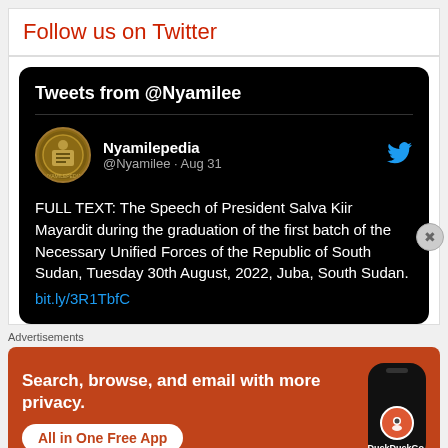Follow us on Twitter
[Figure (screenshot): Twitter/X embedded widget showing Tweets from @Nyamilee account with a tweet from Nyamilepedia (@Nyamilee, Aug 31) saying: FULL TEXT: The Speech of President Salva Kiir Mayardit during the graduation of the first batch of the Necessary Unified Forces of the Republic of South Sudan, Tuesday 30th August, 2022, Juba, South Sudan. bit.ly/3R1TbfC]
Advertisements
[Figure (screenshot): DuckDuckGo advertisement banner with orange background showing text: Search, browse, and email with more privacy. All in One Free App. Shows a phone graphic with DuckDuckGo logo.]